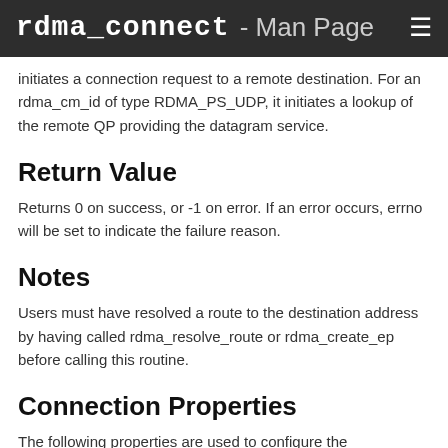rdma_connect - Man Page ≡
Initiates a connection request to a remote destination. For an rdma_cm_id of type RDMA_PS_UDP, it initiates a lookup of the remote QP providing the datagram service.
Return Value
Returns 0 on success, or -1 on error. If an error occurs, errno will be set to indicate the failure reason.
Notes
Users must have resolved a route to the destination address by having called rdma_resolve_route or rdma_create_ep before calling this routine.
Connection Properties
The following properties are used to configure the communication and specified by the conn_param parameter when connecting or establishing datagram communication.